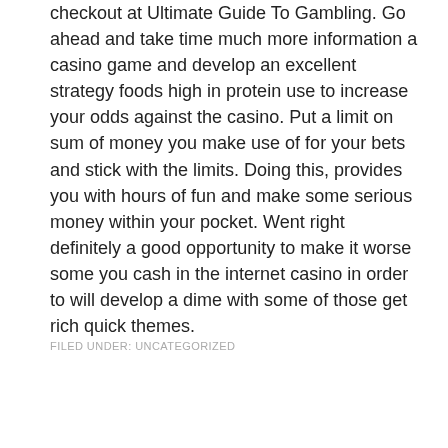checkout at Ultimate Guide To Gambling. Go ahead and take time much more information a casino game and develop an excellent strategy foods high in protein use to increase your odds against the casino. Put a limit on sum of money you make use of for your bets and stick with the limits. Doing this, provides you with hours of fun and make some serious money within your pocket. Went right definitely a good opportunity to make it worse some you cash in the internet casino in order to will develop a dime with some of those get rich quick themes.
FILED UNDER: UNCATEGORIZED